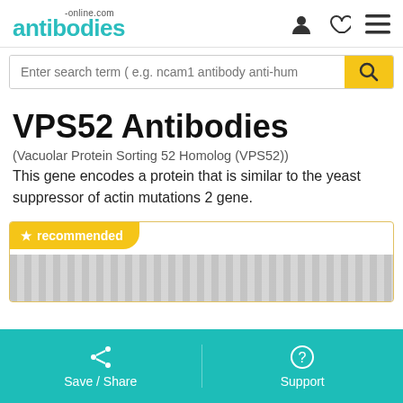antibodies-online.com
Enter search term ( e.g. ncam1 antibody anti-hum
VPS52 Antibodies
(Vacuolar Protein Sorting 52 Homolog (VPS52))
This gene encodes a protein that is similar to the yeast suppressor of actin mutations 2 gene.
★ recommended
[Figure (screenshot): Partially visible product card image area below recommended banner]
Save / Share    Support